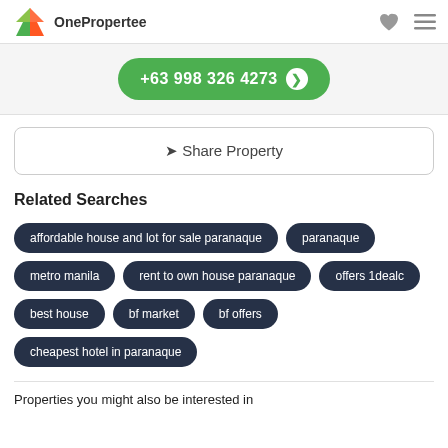OnePropertee
+63 998 326 4273
Share Property
Related Searches
affordable house and lot for sale paranaque
paranaque
metro manila
rent to own house paranaque
offers 1dealc
best house
bf market
bf offers
cheapest hotel in paranaque